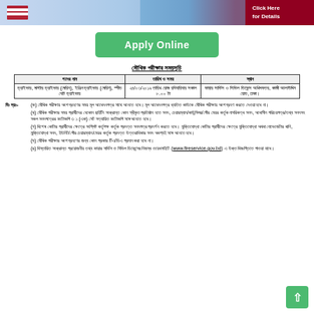[Figure (photo): Banner image with American flag, woman, Statue of Liberty, and 'Click Here for Details' red button]
[Figure (other): Green 'Apply Online' button]
মৌখিক পরীক্ষার সময়সূচি
| পদের নাম | তারিখ ও সময় | স্থান |
| --- | --- | --- |
| ড্রাইভার, মাস্টার ড্রাইভার (মেরিন), ইঞ্জিন ড্রাইভার (মেরিন), স্পীড বোট ড্রাইভার | ২৪/০৩/২০১৯ তারিখ রোজ রবিবারিবার সকাল ৮.০০ টা | ফায়ার সার্ভিস ও সিভিল ডিফেন্স অধিদফতর, কাজী আলাউদ্দিন রোড, ঢাকা। |
বিঃ দ্রঃ- (ক) মৌখিক পরীক্ষায় অংশগ্রহণের সময় মূল আবেদনপত্র সাথে আনতে হবে। মূল আবেদনপত্র ব্যতিত কাউকে মৌখিক পরীক্ষায় অংশগ্রহণ করতে দেওয়া হবে না।
(খ) মৌখিক পরীক্ষার সময় প্রার্থীদের যেকোন ছাইটিং সংক্রান্ত কোন স্বীকৃত প্রতিষ্ঠান হতে সনদ, চেয়ারম্যান/কাউন্সিলর/পৌর মেয়র কর্তৃক নাগরিকত্ব সনদ, আবাসীন পরিচয়পত্র/তথ্য সনদসহ সকল সনদপত্রের ফটোকপি ৩ ১ (এক) সেট সত্যায়িত ফটোকপি সঙ্গে আনতে হবে।
(গ) বিশেষ কোটার প্রার্থীদের ক্ষেত্রে সংশ্লিষ্ট কর্তৃপক্ষ কর্তৃক প্রদত্ত সনদপত্র প্রদর্শন করতে হবে। মুক্তিযোদ্ধা কোটার প্রার্থীদের ক্ষেত্রে মুক্তিযোদ্ধা অথবা নোভেজেটার খানি, মুক্তিযোদ্ধা সনদ, ইউনিট/পৌর চেয়ারম্যান/মেয়র কর্তৃক প্রদত্ত উত্তরাধিকার সনদ অবশ্যই সঙ্গে আনতে হবে।
(ঘ) মৌখিক পরীক্ষার অংশগ্রহণের জন্য কোন প্রকার টিএ/ডিএ প্রদান করা হবে না।
(ঙ) বিস্তারিত সংক্রান্ত প্রয়োজনীয় তথ্য ফায়ার সার্ভিস ও সিভিল ডিফেন্সের নিজস্ব ওয়েবসাইটে (www.fireservice.gov.bd) এ উক্ত বিজ্ঞপ্তিতে পাওয়া যাবে।